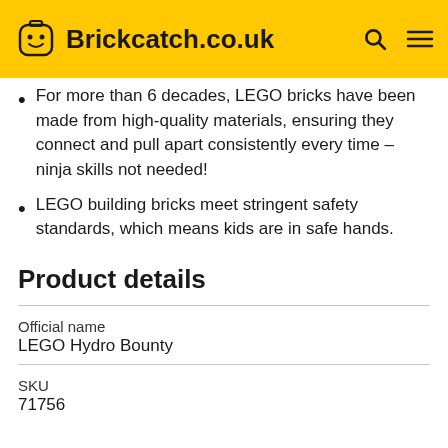Brickcatch.co.uk
For more than 6 decades, LEGO bricks have been made from high-quality materials, ensuring they connect and pull apart consistently every time – ninja skills not needed!
LEGO building bricks meet stringent safety standards, which means kids are in safe hands.
Product details
| Field | Value |
| --- | --- |
| Official name | LEGO Hydro Bounty |
| SKU | 71756 |